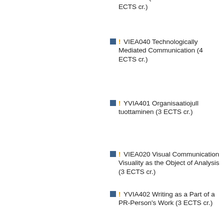! VIEA040 Technologically Mediated Communication (4 ECTS cr.)
! YVIA401 Organisaatiojulk tuottaminen (3 ECTS cr.)
! VIEA020 Visual Communication Visuality as the Object of Analysis (3 ECTS cr.)
! YVIA402 Writing as a Part of a PR-Person's Work (3 ECTS cr.)
! YVIA500 Yhteisöviesti erikoisalat, 6 ECTS